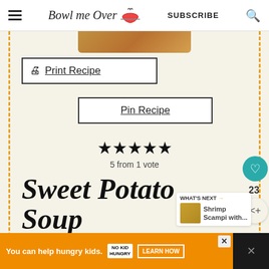Bowl me Over — SUBSCRIBE
[Figure (photo): Partial food photo at top of content area, brown/golden dish]
🖨 Print Recipe
Pin Recipe
★★★★★ 5 from 1 vote
Sweet Potato Soup
Sweet Potato Soup - I served this with
WHAT'S NEXT → Shrimp Scampi with...
You can help hungry kids. NO KID HUNGRY LEARN HOW